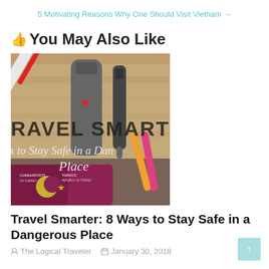5 Motivating Reasons Why One Should Visit Vietnam →
👍 You May Also Like
[Figure (photo): Travel-themed photo showing Swiss Army tool/pen, markers, and a Turkish passport, with overlaid text reading 'TRAVEL SMARTER' and 's to Stay Safe in a Dan Place']
Travel Smarter: 8 Ways to Stay Safe in a Dangerous Place
The Logical Traveler   January 30, 2018